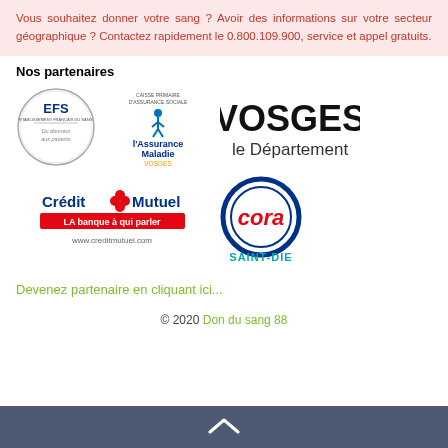Vous souhaitez donner votre sang ? Avoir des informations sur votre secteur géographique ? Contactez rapidement le 0.800.109.900, service et appel gratuits.
Nos partenaires
[Figure (logo): EFS logo - circular badge with text 'EFS Etablissement Français du Sang - Du donneur aux patients']
[Figure (logo): l'Assurance Maladie VOSGES logo]
[Figure (logo): VOSGES le Département logo in large black text]
[Figure (logo): Crédit Mutuel LA banque à qui parler www.creditmutuel.com logo]
[Figure (logo): cora SAINT-DIE logo - red cora text in blue circle with teal SAINT-DIE text below]
Devenez partenaire en cliquant ici...
© 2020 Don du sang 88